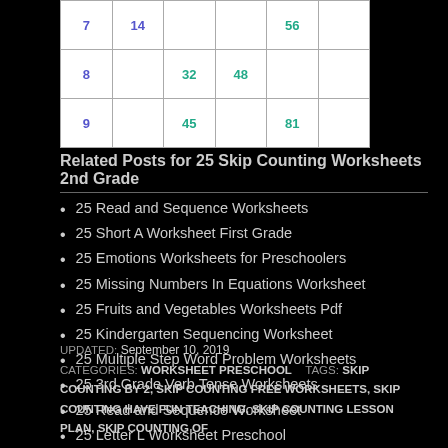[Figure (table-as-image): Partial multiplication table showing rows 7-9 with some cells filled in colored numbers]
Related Posts for 25 Skip Counting Worksheets 2nd Grade
25 Read and Sequence Worksheets
25 Short A Worksheet First Grade
25 Emotions Worksheets for Preschoolers
25 Missing Numbers In Equations Worksheet
25 Fruits and Vegetables Worksheets Pdf
25 Kindergarten Sequencing Worksheet
25 Multiple Step Word Problem Worksheets
25 3rd Grade Verb Tense Worksheets
25 Read and Sequence Worksheet
25 Letter L Worksheet Preschool
UPDATED: September 10, 2019
CATEGORIES: WORKSHEET PRESCHOOL   TAGS: SKIP COUNTING BY 2, SKIP COUNTING FREE WORKSHEETS, SKIP COUNTING HAVE FUN TEACHING, SKIP COUNTING LESSON PLAN, SKIP COUNTING OF